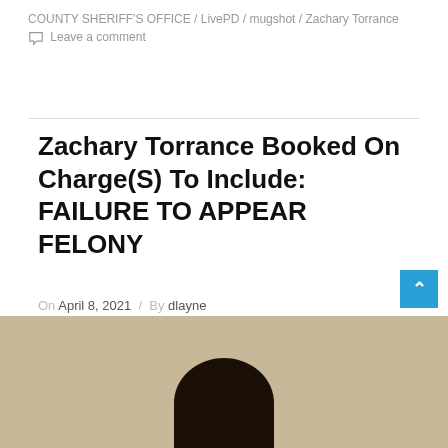COUNTY SHERIFF'S OFFICE / LivePD / mugshot / Zachary Torrance  💬 Leave a comment
Zachary Torrance Booked On Charge(S) To Include: FAILURE TO APPEAR FELONY
On April 8, 2021 / By dlayne
ZACHARY TORRANCE was booked into the Jefferson County Jail on 4/8/2021 0:52. Charge(s) include: FAILURE TO APPEAR FELONY
[Figure (photo): Mugshot photo of Zachary Torrance showing top of head with dark hair against tan/beige background]